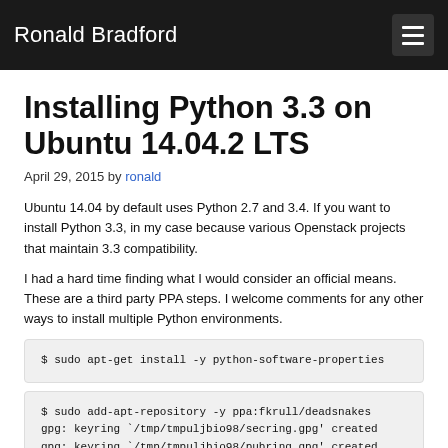Ronald Bradford
Installing Python 3.3 on Ubuntu 14.04.2 LTS
April 29, 2015 by ronald
Ubuntu 14.04 by default uses Python 2.7 and 3.4. If you want to install Python 3.3, in my case because various Openstack projects that maintain 3.3 compatibility.
I had a hard time finding what I would consider an official means. These are a third party PPA steps. I welcome comments for any other ways to install multiple Python environments.
$ sudo apt-get install -y python-software-properties
$ sudo add-apt-repository -y ppa:fkrull/deadsnakes
gpg: keyring `/tmp/tmpuljbio98/secring.gpg' created
gpg: keyring `/tmp/tmpuljbio98/pubring.gpg' created
gpg: requesting key DB82666C from hkp server keyserver.u